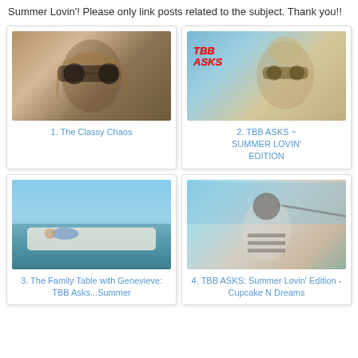Summer Lovin'! Please only link posts related to the subject. Thank you!!
[Figure (photo): Woman with large sunglasses, blonde hair, selfie in car]
1. The Classy Chaos
[Figure (photo): Woman with blonde updo wearing aviator sunglasses, with TBB ASKS text overlay in red]
2. TBB ASKS ~ SUMMER LOVIN' EDITION
[Figure (photo): People relaxing on a boat on the water, summer day]
3. The Family Table with Genevieve: TBB Asks...Summer
[Figure (photo): Dark-haired woman in striped shirt outdoors near water with bridge in background]
4. TBB ASKS: Summer Lovin' Edition - Cupcake N Dreams